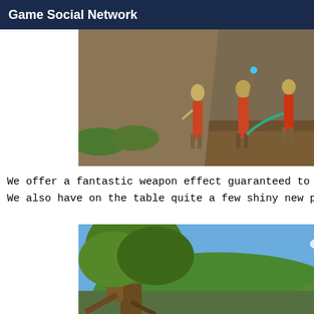Game Social Network
[Figure (screenshot): Game screenshot showing armored characters and a large dark demon-like boss creature in a rocky outdoor environment]
We offer a fantastic weapon effect guaranteed to tic
We also have on the table quite a few shiny new pets
[Figure (screenshot): Game screenshot showing a forest/nature environment with trees, blue sky with clouds, hills, and a dark winged creature character with glowing effects]